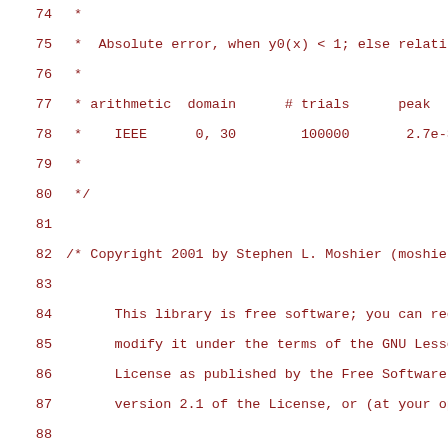Source code with line numbers 74-95, showing C code comments including copyright and GNU LGPL license text for a math library by Stephen L. Moshier.